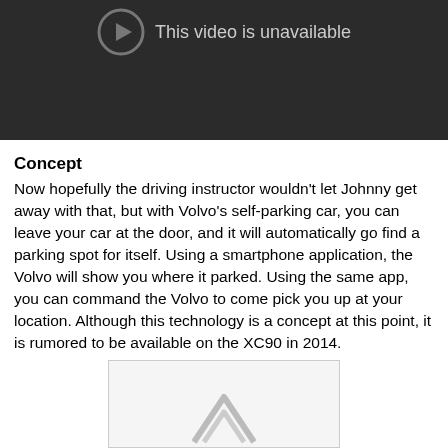[Figure (screenshot): Dark video player placeholder showing 'This video is unavailable' message with a play icon on dark background]
Concept
Now hopefully the driving instructor wouldn't let Johnny get away with that, but with Volvo's self-parking car, you can leave your car at the door, and it will automatically go find a parking spot for itself. Using a smartphone application, the Volvo will show you where it parked. Using the same app, you can command the Volvo to come pick you up at your location. Although this technology is a concept at this point, it is rumored to be available on the XC90 in 2014.
[Figure (screenshot): Bottom partial image placeholder with light gray background and a faint upward arrow/chevron shape]